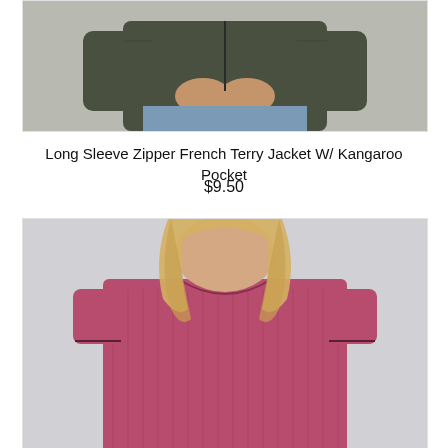[Figure (photo): Close-up photo of a model wearing a dark olive/army green long sleeve zipper French terry jacket, showing torso area with hands clasped, wearing jeans underneath.]
Long Sleeve Zipper French Terry Jacket W/ Kangaroo Pocket
$9.50
[Figure (photo): Photo of a blonde female model wearing a raspberry/berry pink ribbed short sleeve crew neck top, showing from shoulders to waist, against a light gray background.]